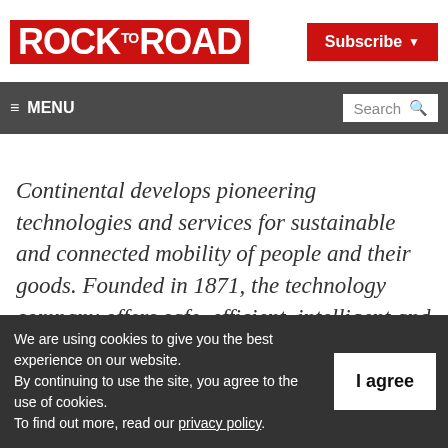ROCK TO ROAD
Subscribe
≡ MENU  Search
Continental develops pioneering technologies and services for sustainable and connected mobility of people and their goods. Founded in 1871, the technology company offers safe, efficient, intelligent and affordable solutions for
We are using cookies to give you the best experience on our website.
By continuing to use the site, you agree to the use of cookies.
To find out more, read our privacy policy.